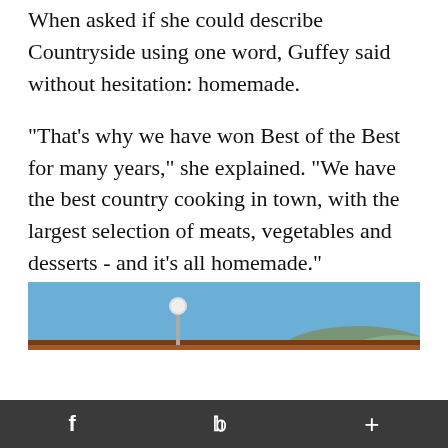When asked if she could describe Countryside using one word, Guffey said without hesitation: homemade.
"That's why we have won Best of the Best for many years," she explained. "We have the best country cooking in town, with the largest selection of meats, vegetables and desserts - and it's all homemade."
[Figure (photo): Exterior photo of a low brick building with a red/brown roof and a white decorative sphere on a post above the entrance. Blue sky and hills visible in background.]
f   𝕏   +